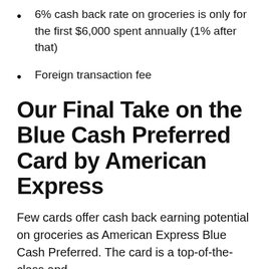6% cash back rate on groceries is only for the first $6,000 spent annually (1% after that)
Foreign transaction fee
Our Final Take on the Blue Cash Preferred Card by American Express
Few cards offer cash back earning potential on groceries as American Express Blue Cash Preferred. The card is a top-of-the-class and